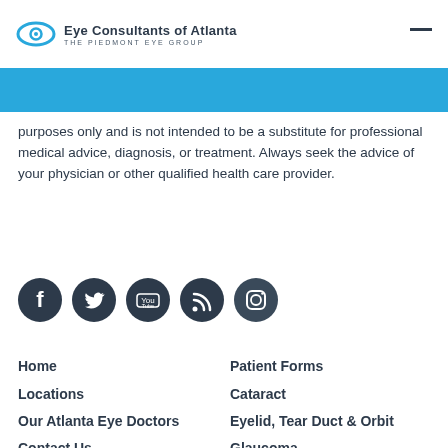Eye Consultants of Atlanta — THE PIEDMONT EYE GROUP
purposes only and is not intended to be a substitute for professional medical advice, diagnosis, or treatment. Always seek the advice of your physician or other qualified health care provider.
[Figure (infographic): Social media icons: Facebook, Twitter, YouTube, RSS feed, Instagram — all circular dark navy buttons]
Home
Patient Forms
Locations
Cataract
Our Atlanta Eye Doctors
Eyelid, Tear Duct & Orbit
Contact Us
Glaucoma